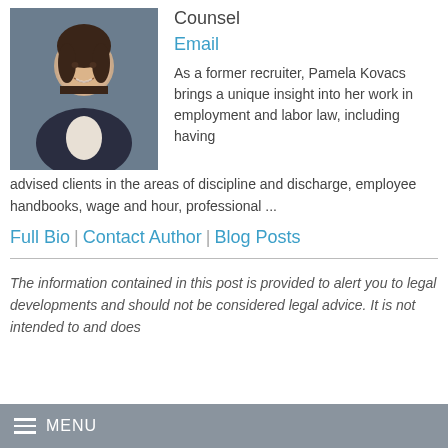[Figure (photo): Professional headshot of Pamela Kovacs, a woman with dark brown hair wearing a dark blazer, smiling, against a grey-blue background.]
Counsel
Email
As a former recruiter, Pamela Kovacs brings a unique insight into her work in employment and labor law, including having advised clients in the areas of discipline and discharge, employee handbooks, wage and hour, professional ...
Full Bio | Contact Author | Blog Posts
The information contained in this post is provided to alert you to legal developments and should not be considered legal advice. It is not intended to and does